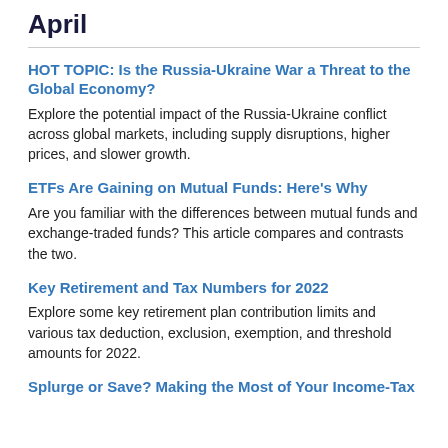April
HOT TOPIC: Is the Russia-Ukraine War a Threat to the Global Economy?
Explore the potential impact of the Russia-Ukraine conflict across global markets, including supply disruptions, higher prices, and slower growth.
ETFs Are Gaining on Mutual Funds: Here’s Why
Are you familiar with the differences between mutual funds and exchange-traded funds? This article compares and contrasts the two.
Key Retirement and Tax Numbers for 2022
Explore some key retirement plan contribution limits and various tax deduction, exclusion, exemption, and threshold amounts for 2022.
Splurge or Save? Making the Most of Your Income-Tax